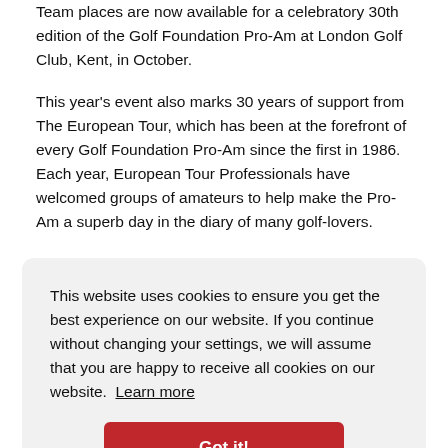Team places are now available for a celebratory 30th edition of the Golf Foundation Pro-Am at London Golf Club, Kent, in October.
This year's event also marks 30 years of support from The European Tour, which has been at the forefront of every Golf Foundation Pro-Am since the first in 1986. Each year, European Tour Professionals have welcomed groups of amateurs to help make the Pro-Am a superb day in the diary of many golf-lovers.
This website uses cookies to ensure you get the best experience on our website. If you continue without changing your settings, we will assume that you are happy to receive all cookies on our website. Learn more
Got it!
The charity relies on support from all golfers as it